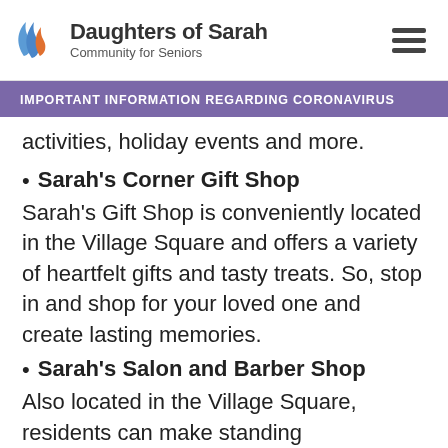Daughters of Sarah Community for Seniors
IMPORTANT INFORMATION REGARDING CORONAVIRUS
activities, holiday events and more.
Sarah's Corner Gift Shop
Sarah's Gift Shop is conveniently located in the Village Square and offers a variety of heartfelt gifts and tasty treats. So, stop in and shop for your loved one and create lasting memories.
Sarah's Salon and Barber Shop
Also located in the Village Square, residents can make standing appointments to visit our